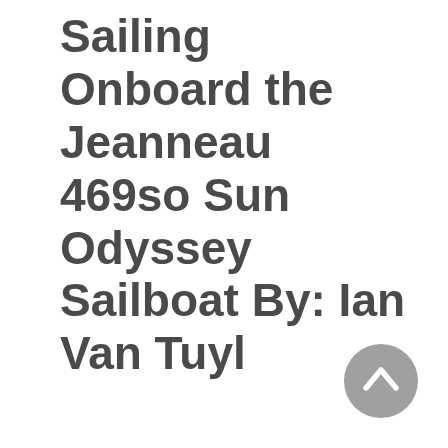Sailing Onboard the Jeanneau 469so Sun Odyssey Sailboat By: Ian Van Tuyl
[Figure (other): A circular grey scroll-to-top button with an upward-pointing chevron arrow icon, positioned in the bottom-right corner of the page.]